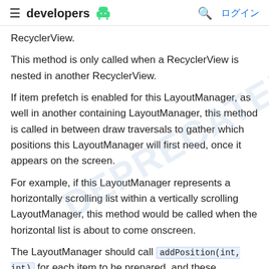≡  developers  [android icon]   🔍  ログイン
RecyclerView.
This method is only called when a RecyclerView is nested in another RecyclerView.
If item prefetch is enabled for this LayoutManager, as well in another containing LayoutManager, this method is called in between draw traversals to gather which positions this LayoutManager will first need, once it appears on the screen.
For example, if this LayoutManager represents a horizontally scrolling list within a vertically scrolling LayoutManager, this method would be called when the horizontal list is about to come onscreen.
The LayoutManager should call addPosition(int, int) for each item to be prepared, and these positions will be their ViewHolder prepared ahead if the...